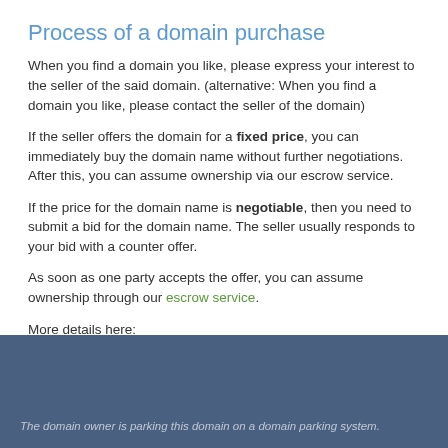Process of a domain purchase
When you find a domain you like, please express your interest to the seller of the said domain. (alternative: When you find a domain you like, please contact the seller of the domain)
If the seller offers the domain for a fixed price, you can immediately buy the domain name without further negotiations. After this, you can assume ownership via our escrow service.
If the price for the domain name is negotiable, then you need to submit a bid for the domain name. The seller usually responds to your bid with a counter offer.
As soon as one party accepts the offer, you can assume ownership through our escrow service.
More details here:
www.domainname.de
The domain owner is parking this domain on a domain parking system.